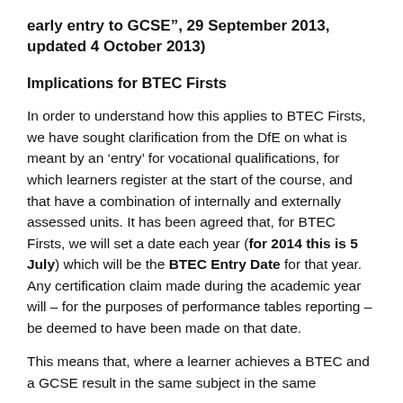early entry to GCSE", 29 September 2013, updated 4 October 2013)
Implications for BTEC Firsts
In order to understand how this applies to BTEC Firsts, we have sought clarification from the DfE on what is meant by an ‘entry’ for vocational qualifications, for which learners register at the start of the course, and that have a combination of internally and externally assessed units. It has been agreed that, for BTEC Firsts, we will set a date each year (for 2014 this is 5 July) which will be the BTEC Entry Date for that year. Any certification claim made during the academic year will – for the purposes of performance tables reporting – be deemed to have been made on that date.
This means that, where a learner achieves a BTEC and a GCSE result in the same subject in the same